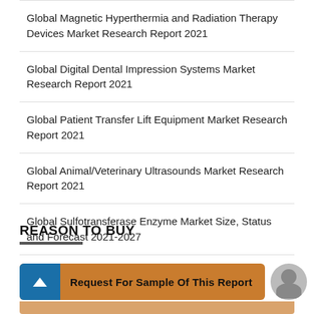Global Magnetic Hyperthermia and Radiation Therapy Devices Market Research Report 2021
Global Digital Dental Impression Systems Market Research Report 2021
Global Patient Transfer Lift Equipment Market Research Report 2021
Global Animal/Veterinary Ultrasounds Market Research Report 2021
Global Sulfotransferase Enzyme Market Size, Status and Forecast 2021-2027
REASON TO BUY
Request For Sample Of This Report